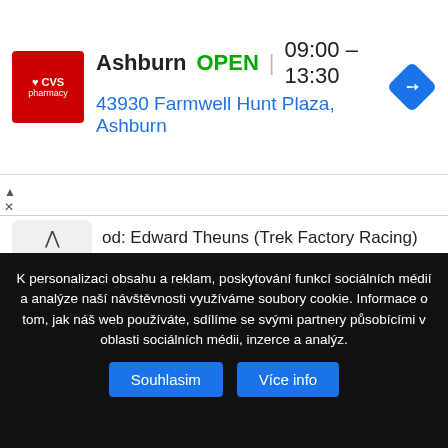[Figure (logo): CVS Pharmacy advertisement banner showing store location in Ashburn, open 09:00-13:30, address 43930 Farmwell Hunt Plaza, Ashburn]
od: Edward Theuns (Trek Factory Racing)
Prodloužení smlouvy:
Konec smlouvy: Otto Vergaerde, Jarl Salomein, Kenny de Ketele, Victor Campaenerts, Floris de Tier, Moreno de Pauw, Amaury Capiot, Stijn Steels, Sander Helven, Thomas Sprengers, Gijs van Hoecke, Bert van Lerberghe, Pieter Vanspeybrouck, Tim Declercy, Eliot Lietaer, Pieter Jacobs, Preben Van Hecke, Jonas Rickaert
K personalizaci obsahu a reklam, poskytování funkcí sociálních médií a analýze naší návštěvnosti využíváme soubory cookie. Informace o tom, jak náš web používáte, sdílíme se svými partnery působícími v oblasti sociálních médii, inzerce a analýz.